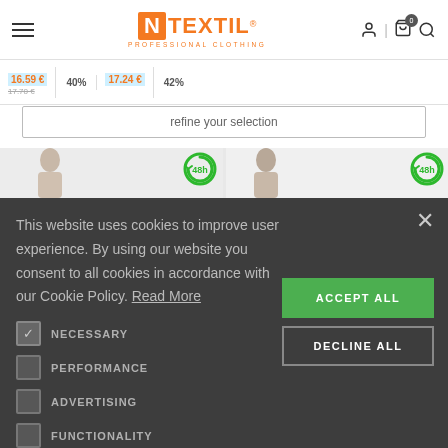[Figure (screenshot): N TEXTIL Professional Clothing website header/navigation bar with hamburger menu, orange logo, user/cart/search icons]
16.59 € 40% 17.24 € 42%
17.70 €
refine your selection
[Figure (screenshot): Two product cards partially visible showing male models wearing professional clothing, each with a 48h delivery badge]
This website uses cookies to improve user experience. By using our website you consent to all cookies in accordance with our Cookie Policy. Read More
NECESSARY
PERFORMANCE
ADVERTISING
FUNCTIONALITY
ACCEPT ALL
DECLINE ALL